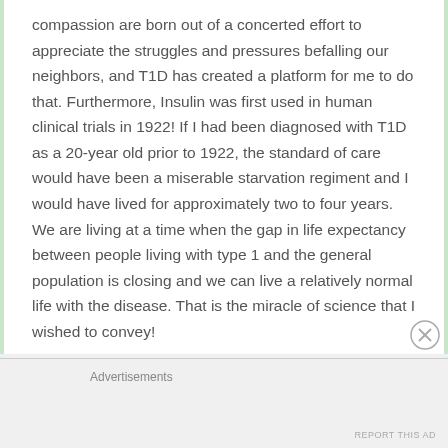compassion are born out of a concerted effort to appreciate the struggles and pressures befalling our neighbors, and T1D has created a platform for me to do that. Furthermore, Insulin was first used in human clinical trials in 1922! If I had been diagnosed with T1D as a 20-year old prior to 1922, the standard of care would have been a miserable starvation regiment and I would have lived for approximately two to four years. We are living at a time when the gap in life expectancy between people living with type 1 and the general population is closing and we can live a relatively normal life with the disease. That is the miracle of science that I wished to convey!
Advertisements